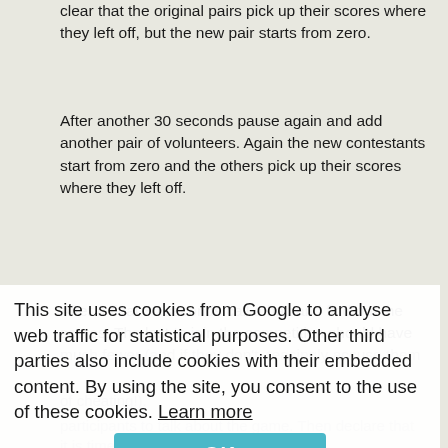clear that the original pairs pick up their scores where they left off, but the new pair starts from zero.
After another 30 seconds pause again and add another pair of volunteers. Again the new contestants start from zero and the others pick up their scores where they left off.
After a final 30 seconds call a halt and find out the scores. The last to join the competition should have much fewer (and if they don't, teasingly accuse them of cheating!).
Discuss in hard to talk about the game. Then declare that participants to talk about the game. Then declare that it is time to give out the prizes.
This site uses cookies from Google to analyse web traffic for statistical purposes. Other third parties also include cookies with their embedded content. By using the site, you consent to the use of these cookies. Learn more
Give the winners four sweets/coins. Then give the second pair their prize – also four sweets/coins. Then the third prize – also four sweets/coins. Finally the pair in last place also got four sweets/coins. Thank